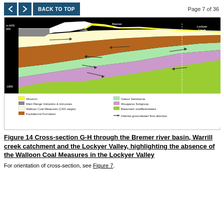BACK TO TOP   Page 7 of 36
[Figure (engineering-diagram): Cross-section G-H geological diagram showing layers through the Bremer river basin, Warrill creek catchment and Lockyer Valley. Layers shown from top to bottom: Alluvium (yellow), Main Range Volcanics & intrusives (grey), Walloon Coal Measures CSG target (cream/pale yellow), Kookaburra Formation (brown/tan), Gatton Sandstone (light green), Woogaroo Subgroup (pink/mauve), Basement undifferentiated (lime green). Arrows show inferred groundwater flow direction. Labels for Warrill Creek, Bremer River, and Lockyer Creek shown at top. Vertical axis shows m AHD from 600 to -1800.]
Figure 14 Cross-section G-H through the Bremer river basin, Warrill creek catchment and the Lockyer Valley, highlighting the absence of the Walloon Coal Measures in the Lockyer Valley
For orientation of cross-section, see Figure 7.